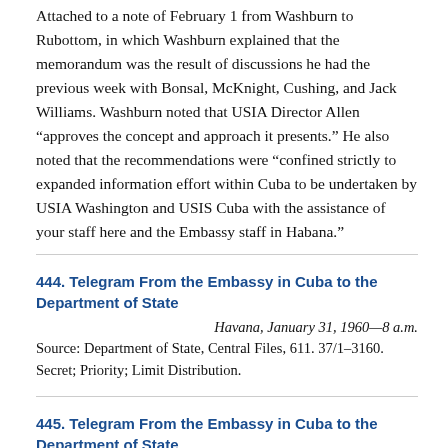Attached to a note of February 1 from Washburn to Rubottom, in which Washburn explained that the memorandum was the result of discussions he had the previous week with Bonsal, McKnight, Cushing, and Jack Williams. Washburn noted that USIA Director Allen “approves the concept and approach it presents.” He also noted that the recommendations were “confined strictly to expanded information effort within Cuba to be undertaken by USIA Washington and USIS Cuba with the assistance of your staff here and the Embassy staff in Habana.”
444. Telegram From the Embassy in Cuba to the Department of State
Havana, January 31, 1960—8 a.m.
Source: Department of State, Central Files, 611. 37/1–3160. Secret; Priority; Limit Distribution.
445. Telegram From the Embassy in Cuba to the Department of State
Havana, February 1, 1960—6 p.m.